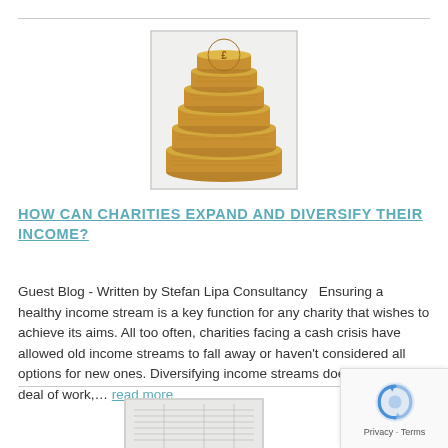[Figure (photo): Stack of gold coins photographed from above, forming a pyramid-like pile]
HOW CAN CHARITIES EXPAND AND DIVERSIFY THEIR INCOME?
Guest Blog - Written by Stefan Lipa Consultancy   Ensuring a healthy income stream is a key function for any charity that wishes to achieve its aims. All too often, charities facing a cash crisis have allowed old income streams to fall away or haven't considered all options for new ones. Diversifying income streams does require a deal of work,... read more
[Figure (photo): Partially visible image at the bottom of the page, appears to be a document or spreadsheet]